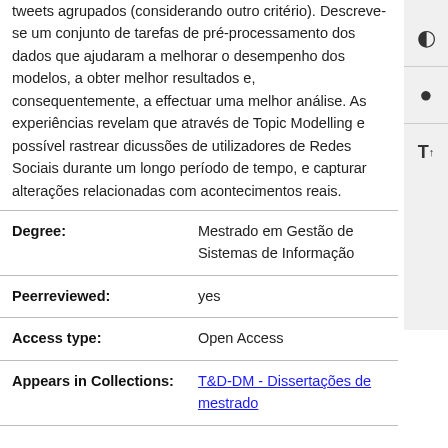tweets agrupados (considerando outro critério). Descreve-se um conjunto de tarefas de pré-processamento dos dados que ajudaram a melhorar o desempenho dos modelos, a obter melhor resultados e, consequentemente, a effectuar uma melhor análise. As experiências revelam que através de Topic Modelling e possível rastrear dicussões de utilizadores de Redes Sociais durante um longo período de tempo, e capturar alterações relacionadas com acontecimentos reais.
| Field | Value |
| --- | --- |
| Degree: | Mestrado em Gestão de Sistemas de Informação |
| Peerreviewed: | yes |
| Access type: | Open Access |
| Appears in Collections: | T&D-DM - Dissertações de mestrado |